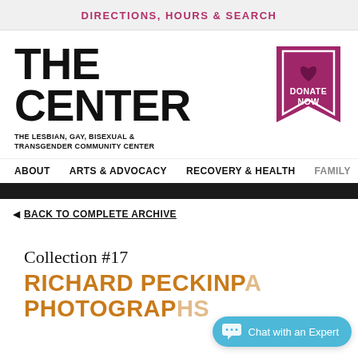DIRECTIONS, HOURS & SEARCH
[Figure (logo): The Center logo: bold black text 'THE CENTER' with tagline 'THE LESBIAN, GAY, BISEXUAL & TRANSGENDER COMMUNITY CENTER']
[Figure (logo): Donate Now badge: purple bookmark shape with heart icon and text 'DONATE NOW']
ABOUT   ARTS & ADVOCACY   RECOVERY & HEALTH   FAMILY
◄ BACK TO COMPLETE ARCHIVE
Collection #17
RICHARD PECKINP... PHOTOGRAPHS